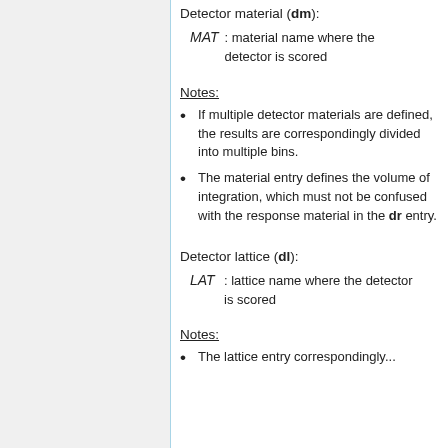Detector material (dm):
MAT : material name where the detector is scored
Notes:
If multiple detector materials are defined, the results are correspondingly divided into multiple bins.
The material entry defines the volume of integration, which must not be confused with the response material in the dr entry.
Detector lattice (dl):
LAT : lattice name where the detector is scored
Notes:
The lattice entry correspondingly...